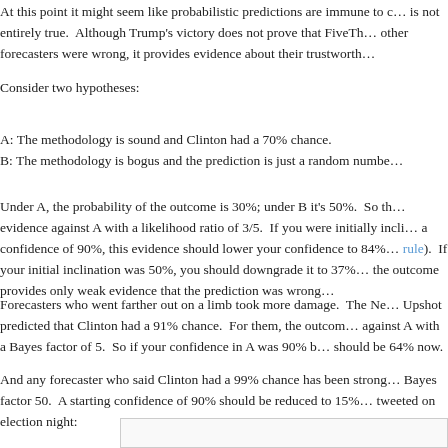At this point it might seem like probabilistic predictions are immune to c... is not entirely true. Although Trump's victory does not prove that FiveTh... other forecasters were wrong, it provides evidence about their trustworth...
Consider two hypotheses:
A: The methodology is sound and Clinton had a 70% chance.
B: The methodology is bogus and the prediction is just a random numbe...
Under A, the probability of the outcome is 30%; under B it's 50%. So th... evidence against A with a likelihood ratio of 3/5. If you were initially incli... a confidence of 90%, this evidence should lower your confidence to 84%... rule). If your initial inclination was 50%, you should downgrade it to 37%... the outcome provides only weak evidence that the prediction was wrong.
Forecasters who went farther out on a limb took more damage. The Ne... Upshot predicted that Clinton had a 91% chance. For them, the outcom... against A with a Bayes factor of 5. So if your confidence in A was 90% b... should be 64% now.
And any forecaster who said Clinton had a 99% chance has been strong... Bayes factor 50. A starting confidence of 90% should be reduced to 15%... tweeted on election night:
[Figure (screenshot): A screenshot or embedded content box at the bottom of the page, partially visible, with a light gray border.]